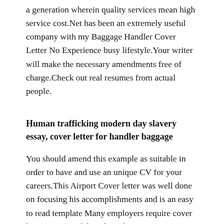a generation wherein quality services mean high service cost.Net has been an extremely useful company with my Baggage Handler Cover Letter No Experience busy lifestyle.Your writer will make the necessary amendments free of charge.Check out real resumes from actual people.
Human trafficking modern day slavery essay, cover letter for handler baggage
You should amend this example as suitable in order to have and use an unique CV for your careers.This Airport Cover letter was well done on focusing his accomplishments and is an easy to read template Many employers require cover letters as part of the job application process.12 13 Cover Letter For Material Handler Wear2014 Com.Our operators are always ready to assist and work for you 24/7.Baggage Handler Cover Letter Example Jessica Horak Hiring